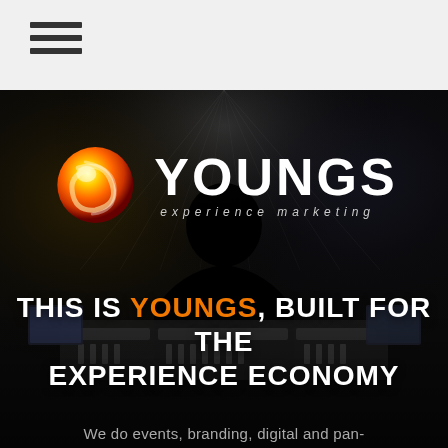[Figure (logo): Hamburger menu icon (three horizontal lines) in top navigation bar]
[Figure (photo): Dark concert/event scene background with silhouette of a sound engineer at mixing desk, stage lights in background]
[Figure (logo): Youngs Experience Marketing logo: orange swirl sphere icon next to bold white YOUNGS text with italic 'experience marketing' tagline]
THIS IS YOUNGS, BUILT FOR THE EXPERIENCE ECONOMY
We do events, branding, digital and pan-